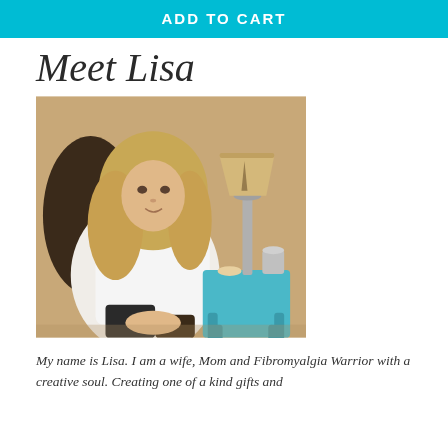ADD TO CART
Meet Lisa
[Figure (photo): A woman with long blonde hair sitting in a chair, wearing a white top. Behind her is a blue side table with a decorative Eiffel Tower lamp and a silver cup.]
My name is Lisa. I am a wife, Mom and Fibromyalgia Warrior with a creative soul. Creating one of a kind gifts and